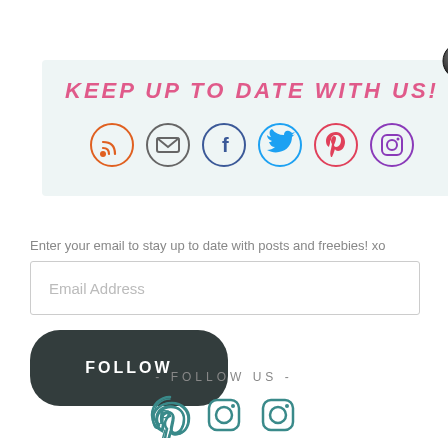KEEP UP TO DATE WITH US!
[Figure (infographic): Row of six social media icon circles: RSS (orange), Email (gray), Facebook (blue), Twitter (blue), Pinterest (red/pink), Instagram (purple)]
Enter your email to stay up to date with posts and freebies! xo
Email Address
FOLLOW
- FOLLOW US -
[Figure (infographic): Three teal social media icons: Pinterest, Instagram (x2)]